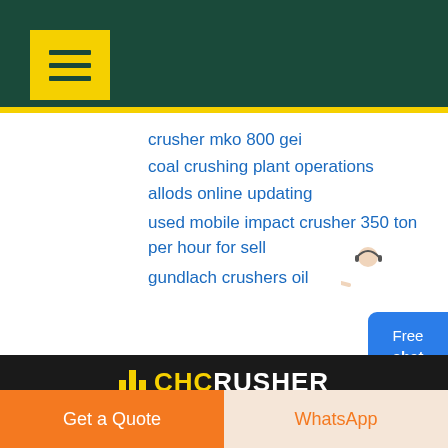[Figure (screenshot): Dark teal header bar with yellow menu/hamburger button in top left]
crusher mko 800 gei
coal crushing plant operations
allods online updating
used mobile impact crusher 350 ton per hour for sell
gundlach crushers oil
[Figure (illustration): Customer service person with headset and Free chat button widget]
[Figure (logo): CHC CRUSHER logo in yellow and white on dark background]
Get a Quote
WhatsApp